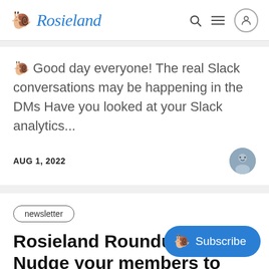Rosieland
🐌 Good day everyone! The real Slack conversations may be happening in the DMs Have you looked at your Slack analytics...
AUG 1, 2022
newsletter
Rosieland Roundup Nudge your members to